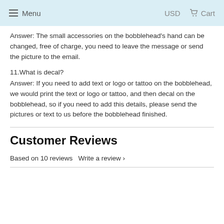Menu   USD   Cart
Answer: The small accessories on the bobblehead's hand can be changed, free of charge, you need to leave the message or send the picture to the email.
11.What is decal?
Answer: If you need to add text or logo or tattoo on the bobblehead, we would print the text or logo or tattoo, and then decal on the bobblehead, so if you need to add this details, please send the pictures or text to us before the bobblehead finished.
Customer Reviews
Based on 10 reviews   Write a review ›